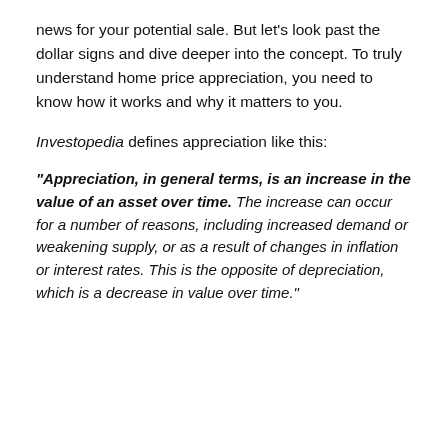news for your potential sale. But let's look past the dollar signs and dive deeper into the concept. To truly understand home price appreciation, you need to know how it works and why it matters to you.
Investopedia defines appreciation like this:
“Appreciation, in general terms, is an increase in the value of an asset over time. The increase can occur for a number of reasons, including increased demand or weakening supply, or as a result of changes in inflation or interest rates. This is the opposite of depreciation, which is a decrease in value over time.”